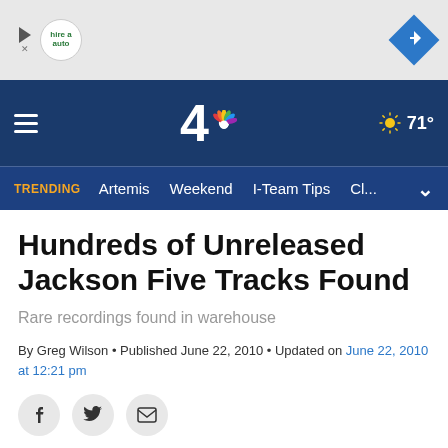[Figure (screenshot): Advertisement banner with Hire-a-Auto logo (circular badge) on the left and a blue diamond navigation arrow icon on the right, on a light gray background.]
[Figure (logo): NBC4 navigation header: dark navy blue background, hamburger menu on left, NBC 4 logo with peacock in center, sun and 71° weather on right.]
TRENDING  Artemis  Weekend  I-Team Tips  Cl...
Hundreds of Unreleased Jackson Five Tracks Found
Rare recordings found in warehouse
By Greg Wilson • Published June 22, 2010 • Updated on June 22, 2010 at 12:21 pm
[Figure (infographic): Three social sharing icon buttons: Facebook (f), Twitter (bird), and Email (envelope), each in a light gray circle.]